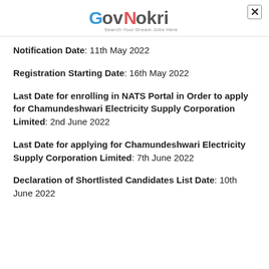GovNokri - Search Your Dream Jobs Here
Notification Date: 11th May 2022
Registration Starting Date: 16th May 2022
Last Date for enrolling in NATS Portal in Order to apply for Chamundeshwari Electricity Supply Corporation Limited: 2nd June 2022
Last Date for applying for Chamundeshwari Electricity Supply Corporation Limited: 7th June 2022
Declaration of Shortlisted Candidates List Date: 10th June 2022